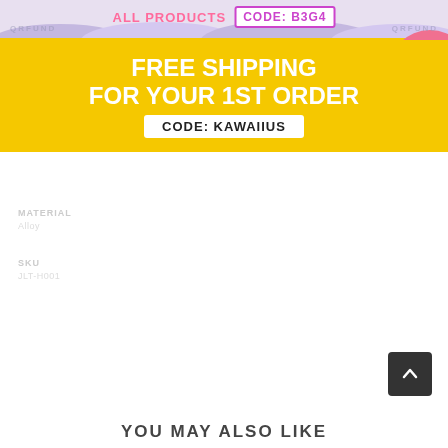[Figure (infographic): Promotional banner with colorful background shapes. Top section shows 'ALL PRODUCTS' label and 'CODE: B3G4' in purple box. Below is a yellow banner with text 'FREE SHIPPING FOR YOUR 1ST ORDER' and white box 'CODE: KAWAIIUS'. Decorative circles in teal, pink, and other colors.]
Material
Alloy
SKU
JLT-H001
YOU MAY ALSO LIKE